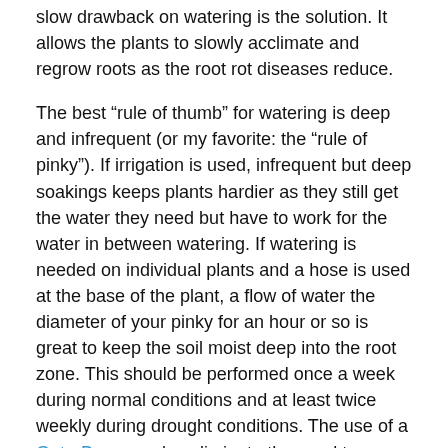slow drawback on watering is the solution. It allows the plants to slowly acclimate and regrow roots as the root rot diseases reduce.
The best “rule of thumb” for watering is deep and infrequent (or my favorite: the “rule of pinky”). If irrigation is used, infrequent but deep soakings keeps plants hardier as they still get the water they need but have to work for the water in between watering. If watering is needed on individual plants and a hose is used at the base of the plant, a flow of water the diameter of your pinky for an hour or so is great to keep the soil moist deep into the root zone. This should be performed once a week during normal conditions and at least twice weekly during drought conditions. The use of a GatorBag can also eliminate the need to constantly check and remember to water the tree.
Be mindful that water can be a double-edged sword. It is essential for the health and growth of your plants, but too much of a good thing can be just as bad or even worse than not enough. Be water-wise when providing for your landscape and take a minute or two before turning on the water to make sure that your plants actually need it.